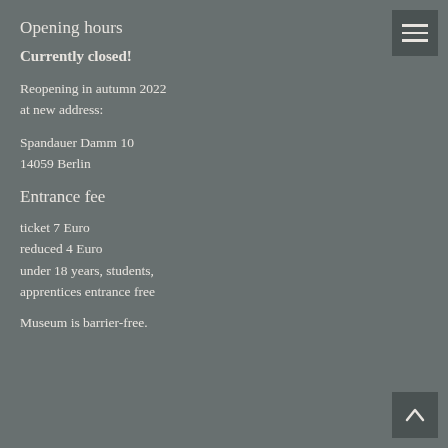Opening hours
Currently closed!
Reopening in autumn 2022
at new address:
Spandauer Damm 10
14059 Berlin
Entrance fee
ticket 7 Euro
reduced 4 Euro
under 18 years, students, apprentices entrance free
Museum is barrier-free.